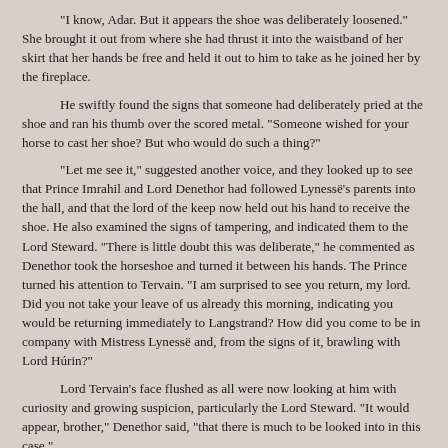“I know, Adar.  But it appears the shoe was deliberately loosened.”  She brought it out from where she had thrust it into the waistband of her skirt that her hands be free and held it out to him to take as he joined her by the fireplace.
He swiftly found the signs that someone had deliberately pried at the shoe and ran his thumb over the scored metal. “Someone wished for your horse to cast her shoe?  But who would do such a thing?”
“Let me see it,” suggested another voice, and they looked up to see that Prince Imrahil and Lord Denethor had followed Lynessë’s parents into the hall, and that the lord of the keep now held out his hand to receive the shoe.  He also examined the signs of tampering, and indicated them to the Lord Steward.  “There is little doubt this was deliberate,” he commented as Denethor took the horseshoe and turned it between his hands.  The Prince turned his attention to Tervain.  “I am surprised to see you return, my lord.  Did you not take your leave of us already this morning, indicating you would be returning immediately to Langstrand?  How did you come to be in company with Mistress Lynessë and, from the signs of it, brawling with Lord Húrin?”
Lord Tervain’s face flushed as all were now looking at him with curiosity and growing suspicion, particularly the Lord Steward. “It would appear, brother,” Denethor said, “that there is much to be looked into in this case.”
Imrahil nodded, his face almost as stern as that of his late sister’s husband.  “I would agree.  Would you like to officiate?”